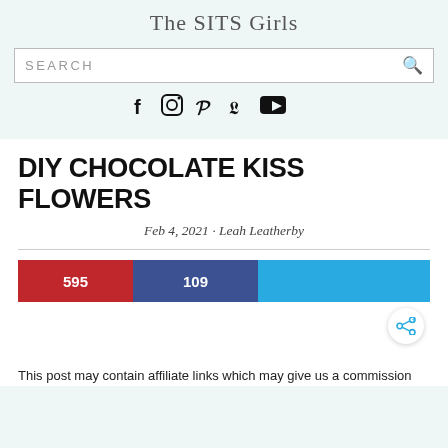The SITS Girls
SEARCH
[Figure (screenshot): Social media icons: Facebook, Instagram, Pinterest, Twitter, YouTube]
DIY CHOCOLATE KISS FLOWERS
Feb 4, 2021 · Leah Leatherby
[Figure (infographic): Social share count bar: red section showing 595, dark blue section showing 109, light blue section]
This post may contain affiliate links which may give us a commission